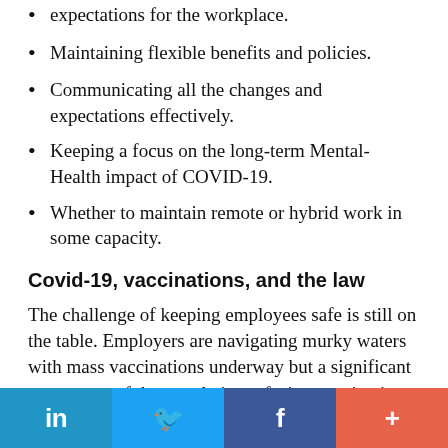expectations for the workplace.
Maintaining flexible benefits and policies.
Communicating all the changes and expectations effectively.
Keeping a focus on the long-term Mental-Health impact of COVID-19.
Whether to maintain remote or hybrid work in some capacity.
Covid-19, vaccinations, and the law
The challenge of keeping employees safe is still on the table. Employers are navigating murky waters with mass vaccinations underway but a significant percentage of the population refusing vaccination altogether.